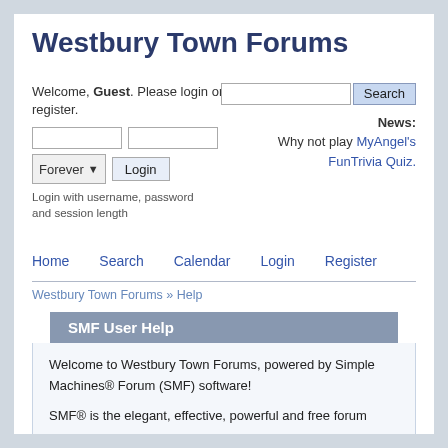Westbury Town Forums
Welcome, Guest. Please login or register.
Login with username, password and session length
News: Why not play MyAngel's FunTrivia Quiz.
Home   Search   Calendar   Login   Register
Westbury Town Forums » Help
SMF User Help
Welcome to Westbury Town Forums, powered by Simple Machines® Forum (SMF) software!
SMF® is the elegant, effective, powerful and free forum